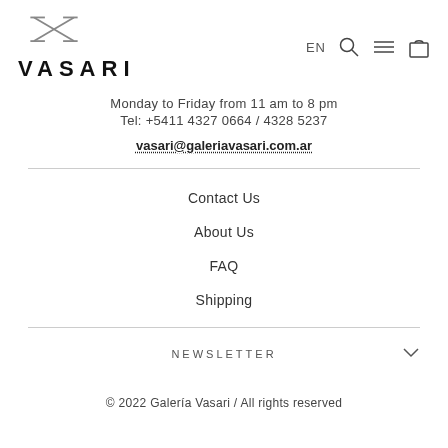[Figure (logo): Vasari gallery logo with crossed lines icon and VASARI text]
Monday to Friday from 11 am to 8 pm
Tel: +5411 4327 0664 / 4328 5237
vasari@galeriavasari.com.ar
Contact Us
About Us
FAQ
Shipping
NEWSLETTER
© 2022 Galería Vasari / All rights reserved